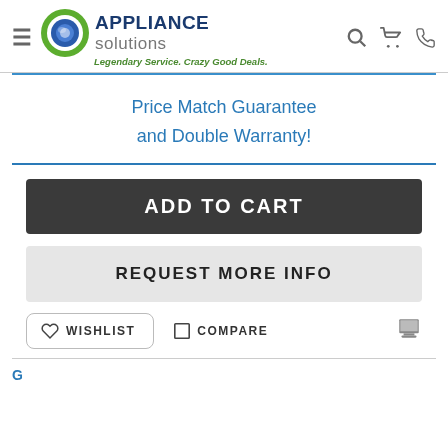Appliance Solutions — Legendary Service. Crazy Good Deals.
Price Match Guarantee and Double Warranty!
ADD TO CART
REQUEST MORE INFO
WISHLIST   COMPARE